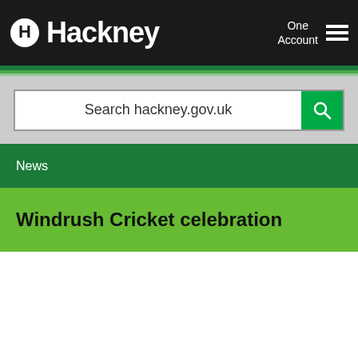Hackney — One Account [navigation menu]
[Figure (screenshot): Search bar with text 'Search hackney.gov.uk' and green search button]
News
Windrush Cricket celebration
Tweet [WhatsApp share button]
Hackney, 12 June 2019
Residents were bowled over by the play at Hackney's Windrush Cricket celebration on Saturday 8 June. The
[Figure (photo): Photo of a person against a sky with clouds]